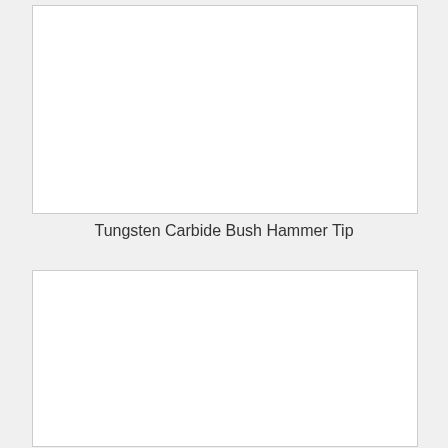[Figure (photo): Top image box showing a Tungsten Carbide Bush Hammer Tip product photo (blank/white in this render)]
Tungsten Carbide Bush Hammer Tip
[Figure (photo): Bottom image box showing a second product photo (blank/white in this render)]